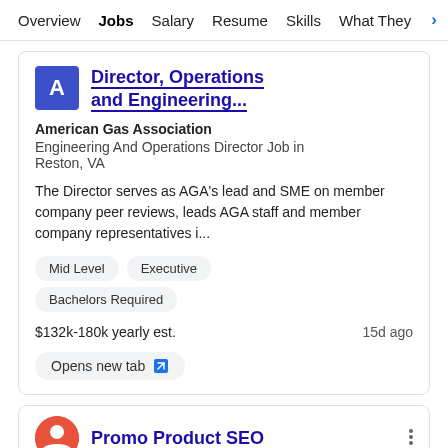Overview  Jobs  Salary  Resume  Skills  What They >
Director, Operations and Engineering...
American Gas Association
Engineering And Operations Director Job in Reston, VA
The Director serves as AGA's lead and SME on member company peer reviews, leads AGA staff and member company representatives i...
Mid Level
Executive
Bachelors Required
$132k-180k yearly est.
15d ago
Opens new tab
Promo Product SEO